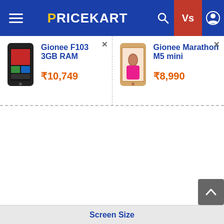PRICEKART
Gionee F103 3GB RAM
₹10,749
Gionee Marathon M5 mini
₹8,990
| Screen Size |
| --- |
| 5 inch | 5 inch |
Screen Resolution